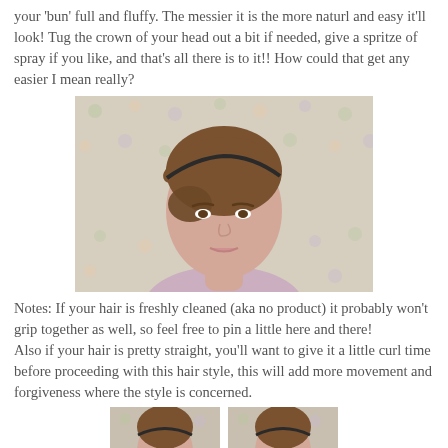your 'bun' full and fluffy. The messier it is the more naturl and easy it'll look! Tug the crown of your head out a bit if needed, give a spritze of spray if you like, and that's all there is to it!! How could that get any easier I mean really?
[Figure (photo): A woman with brown hair styled in an updo bun with a headband, wearing a light purple top, posed in front of a floral patterned background.]
Notes: If your hair is freshly cleaned (aka no product) it probably won't grip together as well, so feel free to pin a little here and there!
Also if your hair is pretty straight, you'll want to give it a little curl time before proceeding with this hair style, this will add more movement and forgiveness where the style is concerned.
[Figure (photo): Two partial photos side by side showing a woman with brown hair styled with a headband against a floral background, showing the beginning steps of the hairstyle tutorial.]